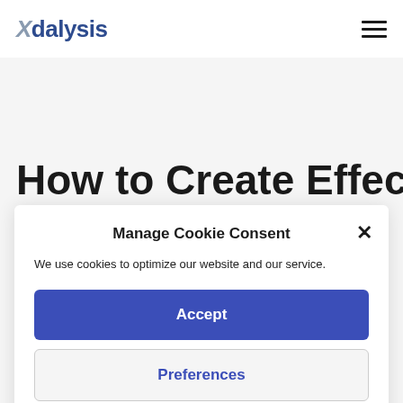Adalysis
How to Create Effective RSAs
Manage Cookie Consent
We use cookies to optimize our website and our service.
Accept
Preferences
Cookie Policy  Privacy Policy